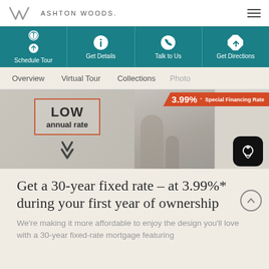ASHTON WOODS.
Schedule Tour | Get Details | Talk to Us | Get Directions
Overview  Virtual Tour  Collections  Photo
[Figure (photo): Left: promotional graphic showing 'LOW annual rate' text in a red-bordered box with a down arrow. Right: photo of a woman and child in a kitchen with '3.99%* Special Financing Rate' banner overlay.]
Get a 30-year fixed rate - at 3.99%* during your first year of ownership
We're making it more affordable to enjoy the design you'll love with a 30-year fixed-rate mortgage featuring